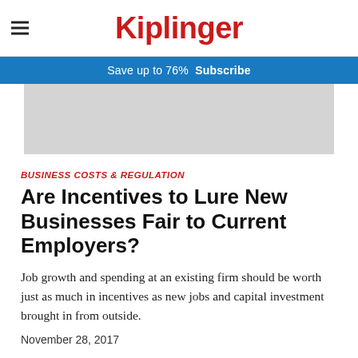Kiplinger
Save up to 76%  Subscribe
[Figure (other): Gray advertisement placeholder banner]
BUSINESS COSTS & REGULATION
Are Incentives to Lure New Businesses Fair to Current Employers?
Job growth and spending at an existing firm should be worth just as much in incentives as new jobs and capital investment brought in from outside.
November 28, 2017